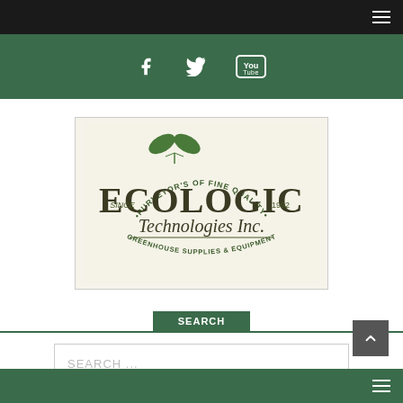Navigation bar with hamburger menu
[Figure (infographic): Social media icons bar (Facebook, Twitter, YouTube) on dark green background]
[Figure (logo): Ecologic Technologies Inc. logo — circular badge with leaves, text: PURVEYOR'S OF FINE QUALITY, ECOLOGIC, Technologies Inc., GREENHOUSE SUPPLIES & EQUIPMENT, SINCE 1992]
SEARCH
SEARCH ...
Footer bar with hamburger menu